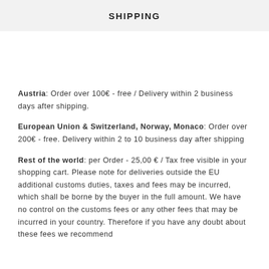SHIPPING
Austria: Order over 100€ - free / Delivery within 2 business days after shipping.
European Union & Switzerland, Norway, Monaco: Order over 200€ - free. Delivery within 2 to 10 business day after shipping
Rest of the world: per Order - 25,00 € / Tax free visible in your shopping cart. Please note for deliveries outside the EU additional customs duties, taxes and fees may be incurred, which shall be borne by the buyer in the full amount. We have no control on the customs fees or any other fees that may be incurred in your country. Therefore if you have any doubt about these fees we recommend